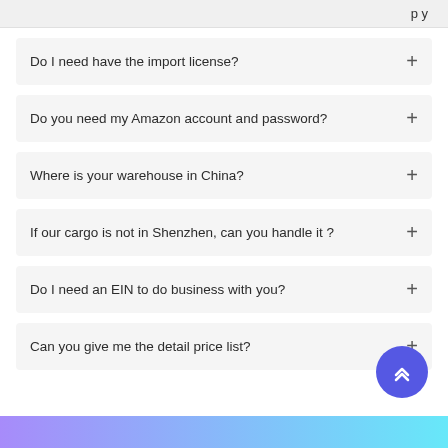Do I need have the import license?
Do you need my Amazon account and password?
Where is your warehouse in China?
If our cargo is not in Shenzhen, can you handle it ?
Do I need an EIN to do business with you?
Can you give me the detail price list?
[Figure (other): Scroll-to-top button: purple circle with white chevron arrows pointing up]
Gradient footer bar (purple to cyan)